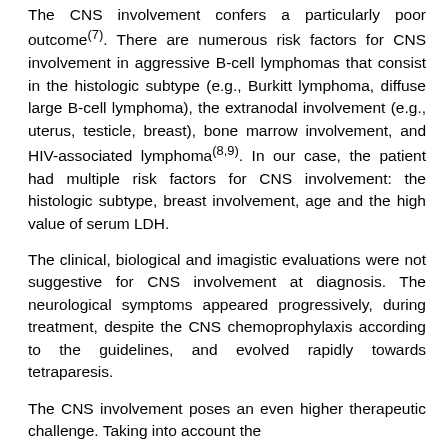The CNS involvement confers a particularly poor outcome(7). There are numerous risk factors for CNS involvement in aggressive B-cell lymphomas that consist in the histologic subtype (e.g., Burkitt lymphoma, diffuse large B-cell lymphoma), the extranodal involvement (e.g., uterus, testicle, breast), bone marrow involvement, and HIV-associated lymphoma(8,9). In our case, the patient had multiple risk factors for CNS involvement: the histologic subtype, breast involvement, age and the high value of serum LDH.
The clinical, biological and imagistic evaluations were not suggestive for CNS involvement at diagnosis. The neurological symptoms appeared progressively, during treatment, despite the CNS chemoprophylaxis according to the guidelines, and evolved rapidly towards tetraparesis.
The CNS involvement poses an even higher therapeutic challenge. Taking into account the